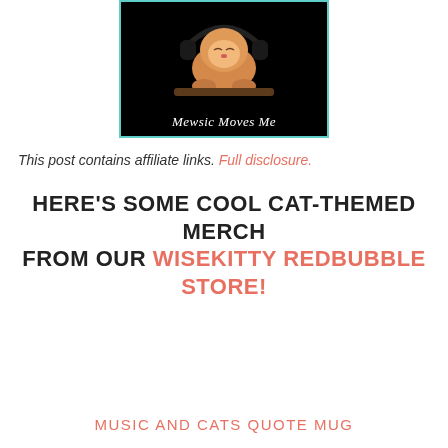[Figure (photo): A small orange kitten wearing headphones, sitting on a log with eyes closed, on a black background. Text overlay reads 'Mewsic Moves Me' in white serif italic font. Image has a teal border.]
This post contains affiliate links. Full disclosure.
HERE'S SOME COOL CAT-THEMED MERCH FROM OUR WISEKITTY REDBUBBLE STORE!
MUSIC AND CATS QUOTE MUG